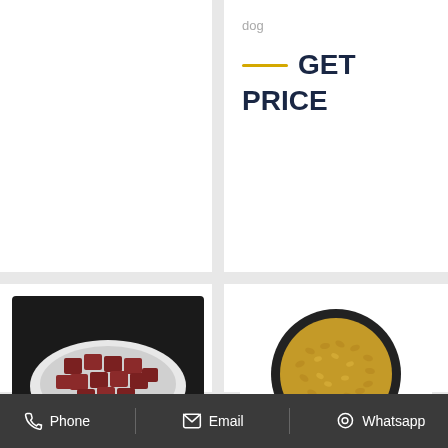dog
GET PRICE
[Figure (photo): Bowl of dark red/brown meat cube dog treats on a white plate against a black background]
Natural Dog Treats - Meats, Fruits, &
[Figure (photo): Black bowl filled with small golden-brown dry dog food kibble pieces on a white background]
Blackdog Blackdog - Naturally Good
Phone   Email   Whatsapp